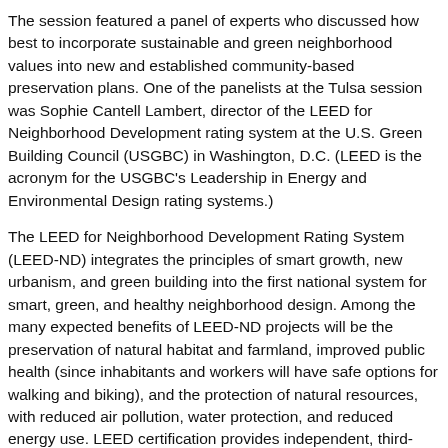The session featured a panel of experts who discussed how best to incorporate sustainable and green neighborhood values into new and established community-based preservation plans. One of the panelists at the Tulsa session was Sophie Cantell Lambert, director of the LEED for Neighborhood Development rating system at the U.S. Green Building Council (USGBC) in Washington, D.C. (LEED is the acronym for the USGBC's Leadership in Energy and Environmental Design rating systems.)
The LEED for Neighborhood Development Rating System (LEED-ND) integrates the principles of smart growth, new urbanism, and green building into the first national system for smart, green, and healthy neighborhood design. Among the many expected benefits of LEED-ND projects will be the preservation of natural habitat and farmland, improved public health (since inhabitants and workers will have safe options for walking and biking), and the protection of natural resources, with reduced air pollution, water protection, and reduced energy use. LEED certification provides independent, third-party verification that a